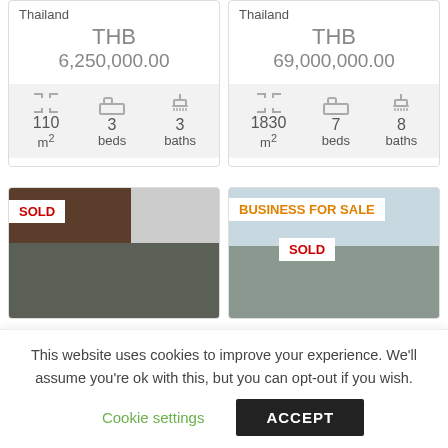Thailand
THB
6,250,000.00
110 m² 3 beds 3 baths
Thailand
THB
69,000,000.00
1830 m² 7 beds 8 baths
[Figure (photo): Property listing photo with SOLD badge, interior and exterior views]
[Figure (photo): Property listing photo with BUSINESS FOR SALE and SOLD badges, building exterior]
This website uses cookies to improve your experience. We'll assume you're ok with this, but you can opt-out if you wish.
Cookie settings
ACCEPT